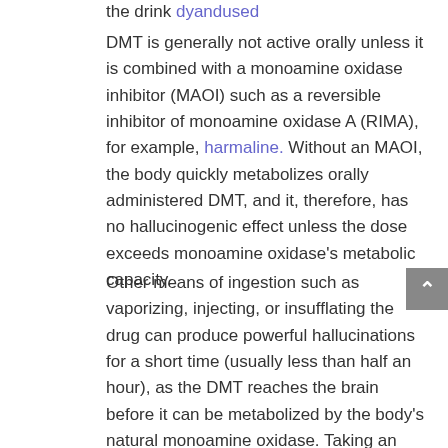the drink dyandused
DMT is generally not active orally unless it is combined with a monoamine oxidase inhibitor (MAOI) such as a reversible inhibitor of monoamine oxidase A (RIMA), for example, harmaline. Without an MAOI, the body quickly metabolizes orally administered DMT, and it, therefore, has no hallucinogenic effect unless the dose exceeds monoamine oxidase's metabolic capacity.
Other means of ingestion such as vaporizing, injecting, or insufflating the drug can produce powerful hallucinations for a short time (usually less than half an hour), as the DMT reaches the brain before it can be metabolized by the body's natural monoamine oxidase. Taking an MAOI prior to vaporizing or injecting DMT prolongs and potentiates the effects.